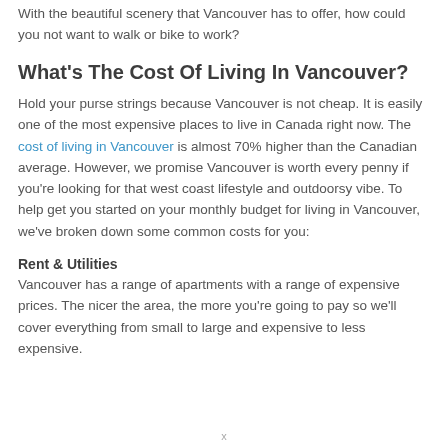With the beautiful scenery that Vancouver has to offer, how could you not want to walk or bike to work?
What's The Cost Of Living In Vancouver?
Hold your purse strings because Vancouver is not cheap. It is easily one of the most expensive places to live in Canada right now. The cost of living in Vancouver is almost 70% higher than the Canadian average. However, we promise Vancouver is worth every penny if you're looking for that west coast lifestyle and outdoorsy vibe. To help get you started on your monthly budget for living in Vancouver, we've broken down some common costs for you:
Rent & Utilities
Vancouver has a range of apartments with a range of expensive prices. The nicer the area, the more you're going to pay so we'll cover everything from small to large and expensive to less expensive.
x